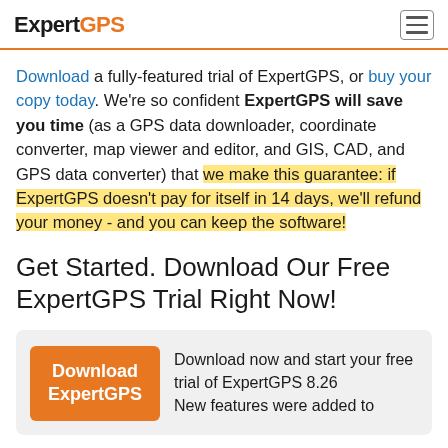ExpertGPS
Download a fully-featured trial of ExpertGPS, or buy your copy today. We're so confident ExpertGPS will save you time (as a GPS data downloader, coordinate converter, map viewer and editor, and GIS, CAD, and GPS data converter) that we make this guarantee: if ExpertGPS doesn't pay for itself in 14 days, we'll refund your money - and you can keep the software!
Get Started. Download Our Free ExpertGPS Trial Right Now!
Download ExpertGPS | Download now and start your free trial of ExpertGPS 8.26. New features were added to